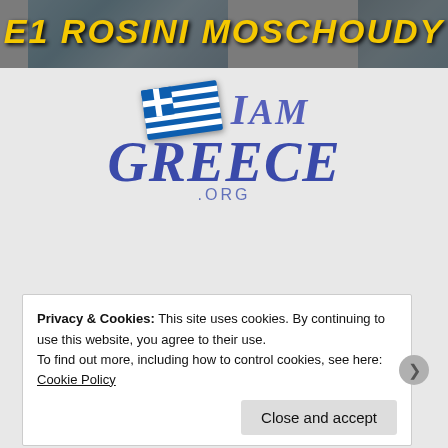[Figure (photo): Top banner with text 'E1 ROSINI MOSCHOUDY' in yellow italic bold font overlaid on a photo background]
[Figure (logo): I AM GREECE .org logo with Greek flag and stylized text]
Effrosyni is a member of the I AM GREECE community on Facebook. Check it out!
Privacy & Cookies: This site uses cookies. By continuing to use this website, you agree to their use.
To find out more, including how to control cookies, see here: Cookie Policy
Close and accept